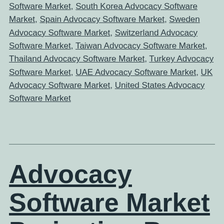Software Market, South Korea Advocacy Software Market, Spain Advocacy Software Market, Sweden Advocacy Software Market, Switzerland Advocacy Software Market, Taiwan Advocacy Software Market, Thailand Advocacy Software Market, Turkey Advocacy Software Market, UAE Advocacy Software Market, UK Advocacy Software Market, United States Advocacy Software Market
Advocacy Software Market Projection By Top